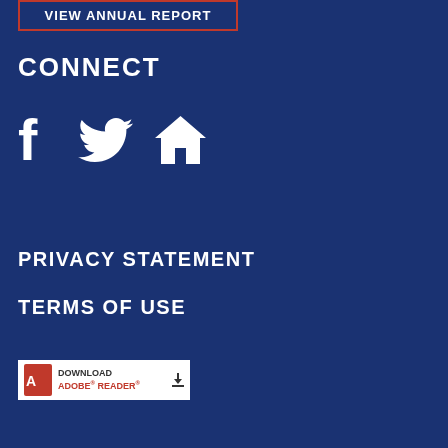VIEW ANNUAL REPORT
CONNECT
[Figure (illustration): Social media icons: Facebook (f), Twitter (bird), and a home/website icon, all white on dark blue background]
PRIVACY STATEMENT
TERMS OF USE
[Figure (logo): Download Adobe Reader badge with red Adobe PDF icon, download arrow, and text DOWNLOAD ADOBE READER]